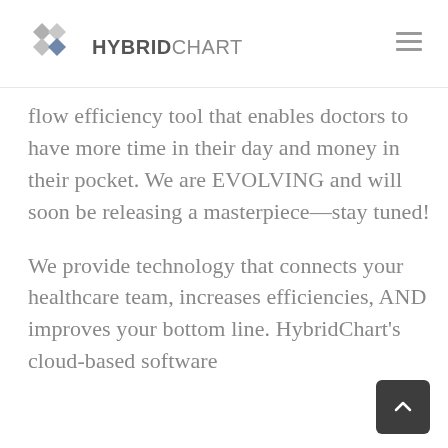HybridChart
flow efficiency tool that enables doctors to have more time in their day and money in their pocket. We are EVOLVING and will soon be releasing a masterpiece—stay tuned!
We provide technology that connects your healthcare team, increases efficiencies, AND improves your bottom line. HybridChart's cloud-based software